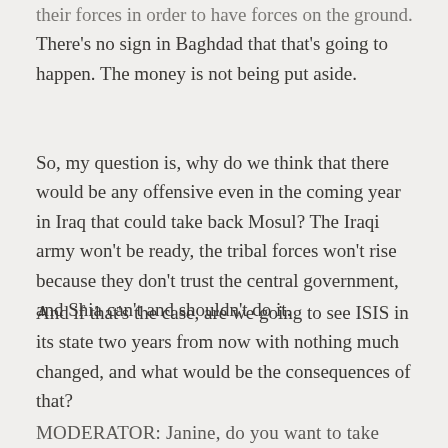their forces in order to have forces on the ground. There's no sign in Baghdad that that's going to happen. The money is not being put aside.
So, my question is, why do we think that there would be any offensive even in the coming year in Iraq that could take back Mosul? The Iraqi army won't be ready, the tribal forces won't rise because they don't trust the central government, and Shia can't and shouldn't do it.
And if that's the case, are we going to see ISIS in its state two years from now with nothing much changed, and what would be the consequences of that?
MODERATOR: Janine, do you want to take that?